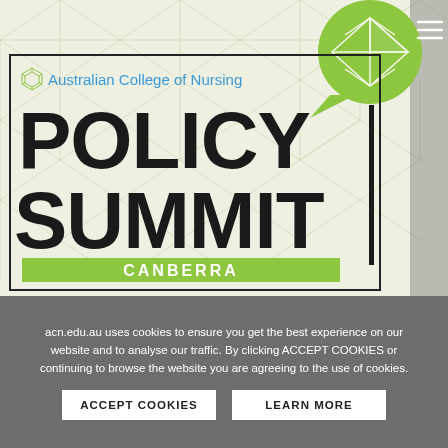[Figure (logo): Australian College of Nursing Policy Summit Canberra promotional banner. Features a light geometric patterned background, a green speech bubble with an octahedron icon in the top right, a bordered box containing the ACN logo and name in blue, large bold text reading POLICY SUMMIT in black, a vertical black bar on the right side of the box, and a green banner below reading CANBERRA in white bold text.]
acn.edu.au uses cookies to ensure you get the best experience on our website and to analyse our traffic. By clicking ACCEPT COOKIES or continuing to browse the website you are agreeing to the use of cookies.
ACCEPT COOKIES
LEARN MORE